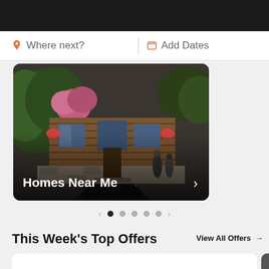Where next?  |  Add Dates
[Figure (photo): Log cabin / mountain home exterior with stone steps, wood siding, flower boxes, and people in background. Text overlay reads 'Homes Near Me' with a right chevron arrow.]
← ● ○ ○ ○ ○ →
This Week's Top Offers
View All Offers →
[Figure (screenshot): Partial white card visible at the bottom of the page, representing a deal/offer listing card.]